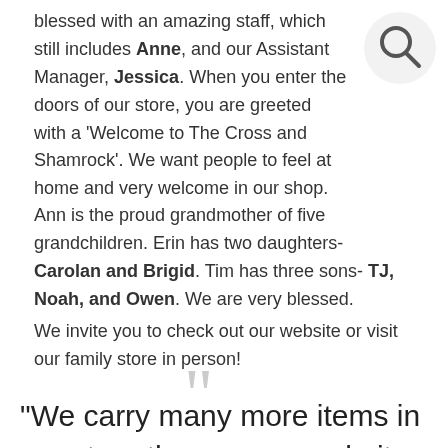blessed with an amazing staff, which still includes Anne, and our Assistant Manager, Jessica. When you enter the doors of our store, you are greeted with a 'Welcome to The Cross and Shamrock'. We want people to feel at home and very welcome in our shop.
[Figure (illustration): Search icon (magnifying glass) in a circular button, positioned top right]
Ann is the proud grandmother of five grandchildren. Erin has two daughters- Carolan and Brigid. Tim has three sons- TJ, Noah, and Owen. We are very blessed.
We invite you to check out our website or visit our family store in person!
[Figure (illustration): Large decorative opening quotation marks in grey]
"We carry many more items in our store than on our website, so if you do not see